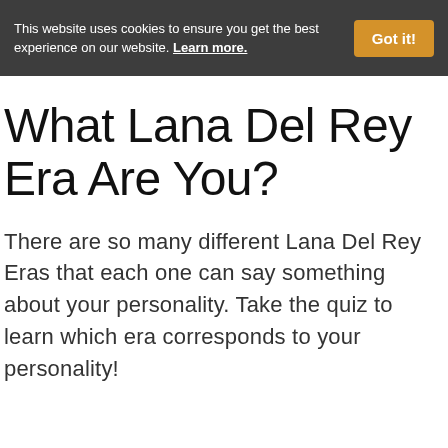This website uses cookies to ensure you get the best experience on our website. Learn more.
What Lana Del Rey Era Are You?
There are so many different Lana Del Rey Eras that each one can say something about your personality. Take the quiz to learn which era corresponds to your personality!